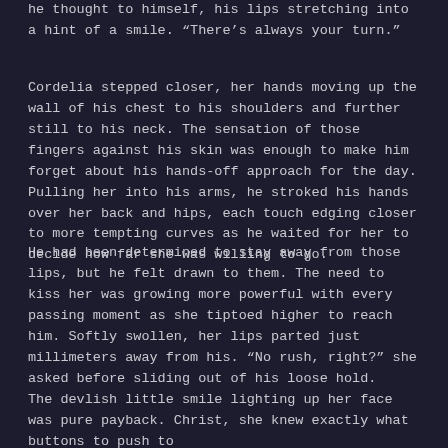he thought to himself, his lips stretching into a hint of a smile. “There’s always your turn.”
Cordelia stepped closer, her hands moving up the wall of his chest to his shoulders and further still to his neck. The sensation of those fingers against his skin was enough to make him forget about his hands-off approach for the day. Pulling her into his arms, he stroked his hands over her back and hips, each touch edging closer to more tempting curves as he waited for her to decide how far she was willing to go.
He had been determined to stay away from those lips, but he felt drawn to them. The need to kiss her was growing more powerful with every passing moment as she tiptoed higher to reach him. Softly swollen, her lips parted just millimeters away from his. “No rush, right?” she asked before sliding out of his loose hold.
The devlish little smile lighting up her face was pure payback. Christ, she knew exactly what buttons to push to